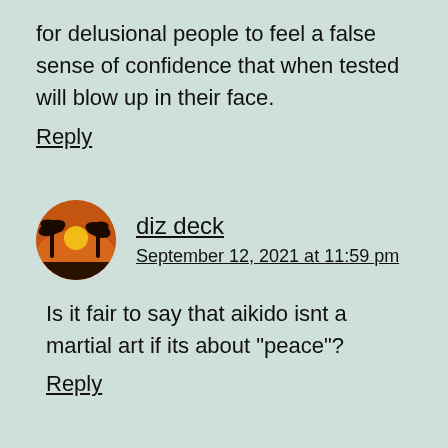for delusional people to feel a false sense of confidence that when tested will blow up in their face.
Reply
diz deck
September 12, 2021 at 11:59 pm
Is it fair to say that aikido isnt a martial art if its about "peace"?
Reply